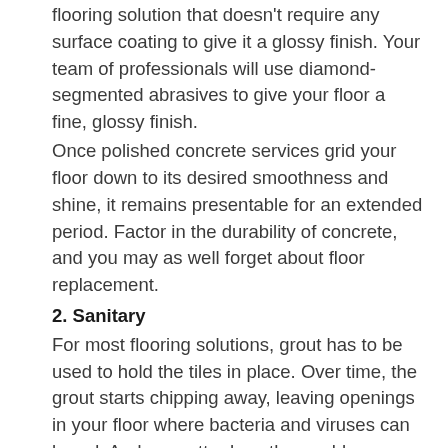flooring solution that doesn't require any surface coating to give it a glossy finish. Your team of professionals will use diamond-segmented abrasives to give your floor a fine, glossy finish.
Once polished concrete services grid your floor down to its desired smoothness and shine, it remains presentable for an extended period. Factor in the durability of concrete, and you may as well forget about floor replacement.
2. Sanitary
For most flooring solutions, grout has to be used to hold the tiles in place. Over time, the grout starts chipping away, leaving openings in your floor where bacteria and viruses can breed. And no matter how thoroughly you scrub the floors, there's bound to be some water left in these crevices that encourage the growth of bacteria.
If you want to maintain a sanitary floor, you should consider installing polished concrete because its tightly